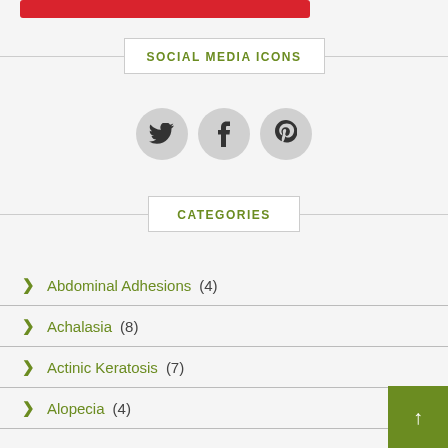[Figure (other): Red bar/button at top of page]
SOCIAL MEDIA ICONS
[Figure (other): Social media icons: Twitter (bird), Facebook (f), Pinterest (p) in grey circles]
CATEGORIES
Abdominal Adhesions (4)
Achalasia (8)
Actinic Keratosis (7)
Alopecia (4)